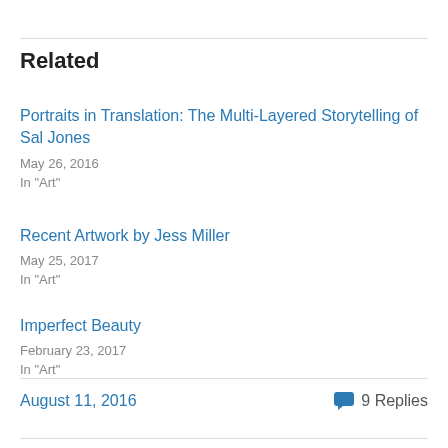Related
Portraits in Translation: The Multi-Layered Storytelling of Sal Jones
May 26, 2016
In "Art"
Recent Artwork by Jess Miller
May 25, 2017
In "Art"
Imperfect Beauty
February 23, 2017
In "Art"
August 11, 2016   9 Replies